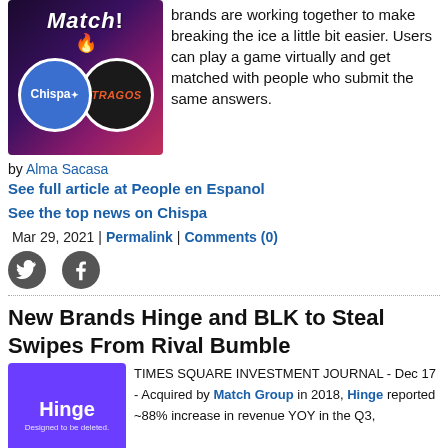[Figure (illustration): Chispa and Tragos branded circles overlapping on a dark gradient background with 'Match!' text at top and fire emoji]
brands are working together to make breaking the ice a little bit easier. Users can play a game virtually and get matched with people who submit the same answers.
by Alma Sacasa
See full article at People en Espanol
See the top news on Chispa
Mar 29, 2021 | Permalink | Comments (0)
[Figure (logo): Twitter bird icon (grey circle)]
[Figure (logo): Facebook f icon (grey circle)]
New Brands Hinge and BLK to Steal Swipes From Rival Bumble
[Figure (logo): Hinge logo on purple background with 'Designed to be deleted' tagline]
TIMES SQUARE INVESTMENT JOURNAL - Dec 17 - Acquired by Match Group in 2018, Hinge reported ~88% increase in revenue YOY in the Q3,
along with niche apps like BLK and Chispa that match people based on